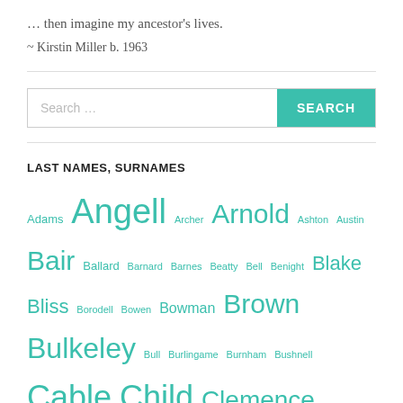… then imagine my ancestor's lives.
~ Kirstin Miller b. 1963
LAST NAMES, SURNAMES
Adams Angell Archer Arnold Ashton Austin Bair Ballard Barnard Barnes Beatty Bell Benight Blake Bliss Borodell Bowen Bowman Brown Bulkeley Bull Burlingame Burnham Bushnell Cable Child Clemence Cloyes Connable Couch